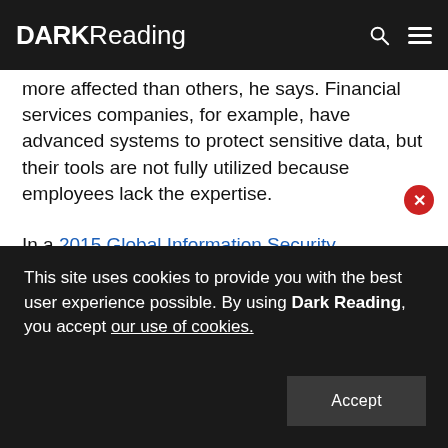DARK Reading
more affected than others, he says. Financial services companies, for example, have advanced systems to protect sensitive data, but their tools are not fully utilized because employees lack the expertise.
In a 2015 Global Information Security Workforce Study, (ISC)²'s Center for Cyber Safety and Education predicts there will be a shortfall of 1.5 million professionals worldwide by 2020 if the shortfall is not addressed. Less than 6% of the study's 13,930 respondents are under the
This site uses cookies to provide you with the best user experience possible. By using Dark Reading, you accept our use of cookies.